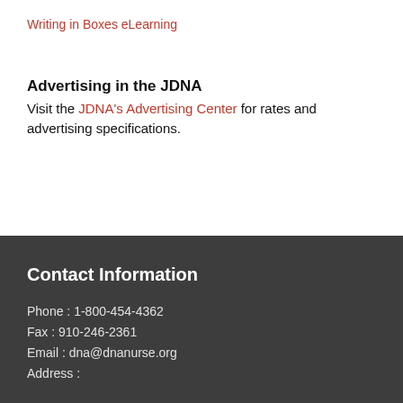Writing in Boxes eLearning
Advertising in the JDNA
Visit the JDNA's Advertising Center for rates and advertising specifications.
Contact Information
Phone : 1-800-454-4362
Fax : 910-246-2361
Email : dna@dnanurse.org
Address :